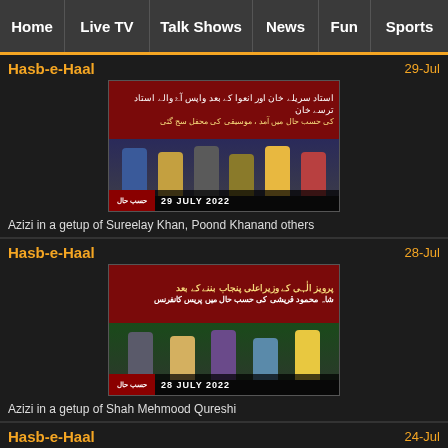Home | Live TV | Talk Shows | News | Fun | Sports
Hasb-e-Haal
29-Jul
[Figure (screenshot): Thumbnail for Hasb-e-Haal episode 29 July 2022 with Urdu text and show panel guests]
Azizi in a getup of Sureelay Khan, Poond Khanand others
Hasb-e-Haal
28-Jul
[Figure (screenshot): Thumbnail for Hasb-e-Haal episode 28 July 2022 with Urdu text and show panel guests]
Azizi in a getup of Shah Mehmood Qureshi
Hasb-e-Haal
24-Jul
[Figure (screenshot): Thumbnail for Hasb-e-Haal episode 24 July 2022 with Urdu text and show panel guests]